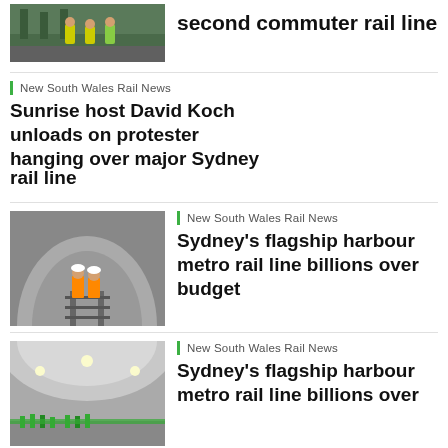[Figure (photo): People in high-visibility vests at a rail construction site]
second commuter rail line
New South Wales Rail News
Sunrise host David Koch unloads on protester hanging over major Sydney rail line
[Figure (photo): Two workers in orange high-visibility vests inside a large rail tunnel]
New South Wales Rail News
Sydney's flagship harbour metro rail line billions over budget
[Figure (photo): A large underground station concourse with people and green construction fencing]
New South Wales Rail News
Sydney's flagship harbour metro rail line billions over